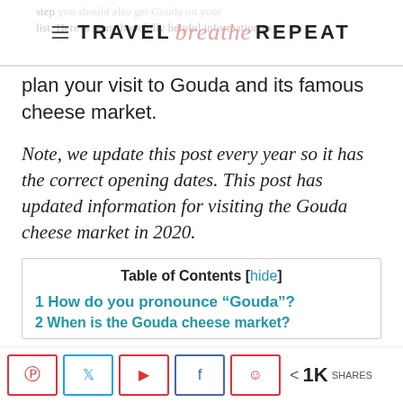TRAVEL breathe REPEAT
plan your visit to Gouda and its famous cheese market.
Note, we update this post every year so it has the correct opening dates. This post has updated information for visiting the Gouda cheese market in 2020.
| Table of Contents |
| --- |
| 1 How do you pronounce “Gouda”? |
| 2 When is the Gouda cheese market? |
< 1K SHARES